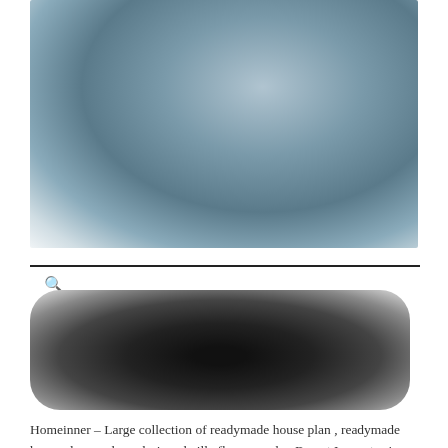[Figure (photo): Blurred/obscured image showing a house or building with blue-grey tones, rendered with heavy blur effect]
[Figure (other): Dark blurred search bar or navigation element with a magnifying glass icon, black rounded rectangle shape]
Homeinner – Large collection of readymade house plan , readymade home plans and pre designed villa floor on sale . Buy at Lowest price